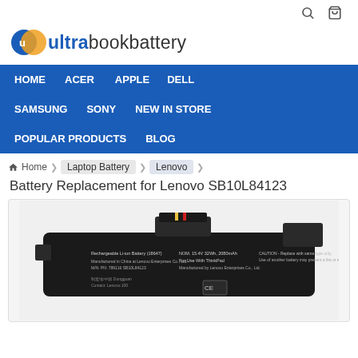[Figure (logo): Ultrabookbattery logo with blue and orange circles]
HOME  ACER  APPLE  DELL  SAMSUNG  SONY  NEW IN STORE  POPULAR PRODUCTS  BLOG
Home / Laptop Battery / Lenovo / Battery Replacement for Lenovo SB10L84123
Battery Replacement for Lenovo SB10L84123
[Figure (photo): Photo of a black Lenovo laptop battery replacement with text labels showing NOM. 15.4V, 32Wh, 2080mAh, For Use With ThinkPad]